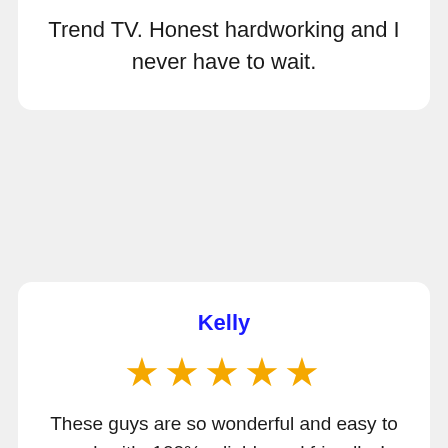Trend TV. Honest hardworking and I never have to wait.
Kelly
[Figure (other): Five gold stars rating]
These guys are so wonderful and easy to work with. 100% reliable and friendly. I rarely write reviews but this is worth it. They continue to be a great source for our company. I highly recommend their services.